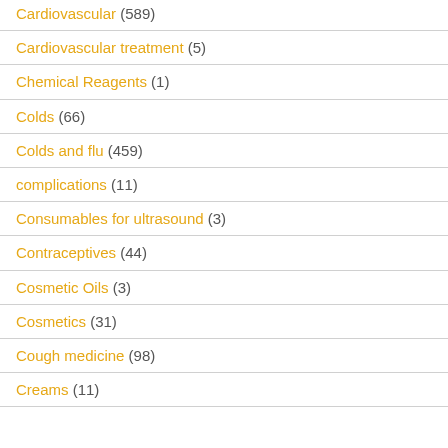Cardiovascular (589)
Cardiovascular treatment (5)
Chemical Reagents (1)
Colds (66)
Colds and flu (459)
complications (11)
Consumables for ultrasound (3)
Contraceptives (44)
Cosmetic Oils (3)
Cosmetics (31)
Cough medicine (98)
Creams (11)